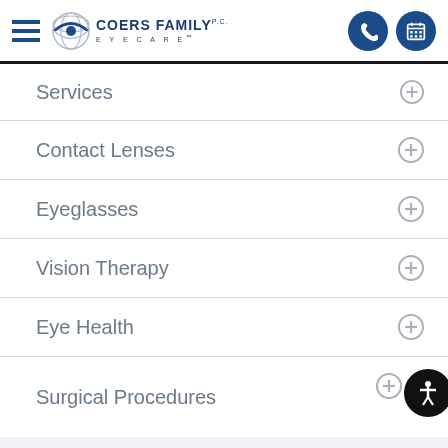[Figure (logo): Coers Family Eyecare logo with globe graphic and hamburger menu icon]
Services
Contact Lenses
Eyeglasses
Vision Therapy
Eye Health
Surgical Procedures